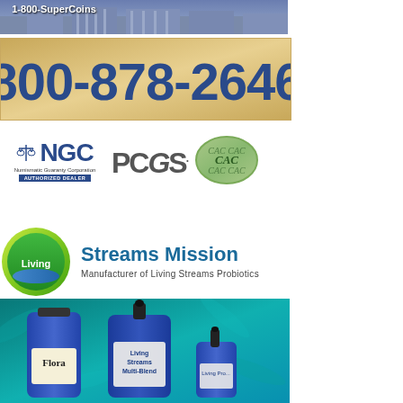[Figure (photo): Aerial or street-level photo of a government/historic building with classical architecture, partially visible text at top]
[Figure (infographic): Phone number banner with tan/gold background displaying 800-878-2646 in large dark blue bold text]
[Figure (logo): NGC (Numismatic Guaranty Corporation) Authorized Dealer logo, PCGS logo, and CAC (Certified Acceptance Corporation) green oval logo]
[Figure (logo): Living Streams Mission logo with green/yellow circular emblem and text 'Living Streams Mission - Manufacturer of Living Streams Probiotics']
[Figure (photo): Product photo showing blue glass bottles of Living Streams probiotic products including Flora and Living Streams Multi-Blend, on teal/cyan bacteria microscopy background]